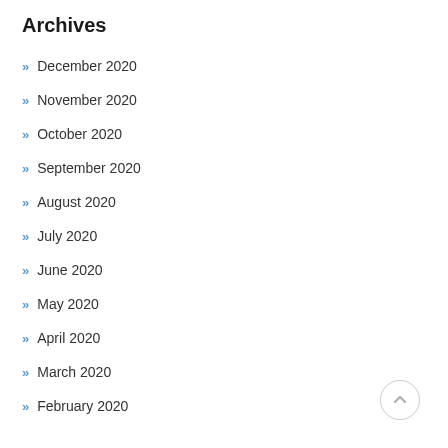Archives
December 2020
November 2020
October 2020
September 2020
August 2020
July 2020
June 2020
May 2020
April 2020
March 2020
February 2020